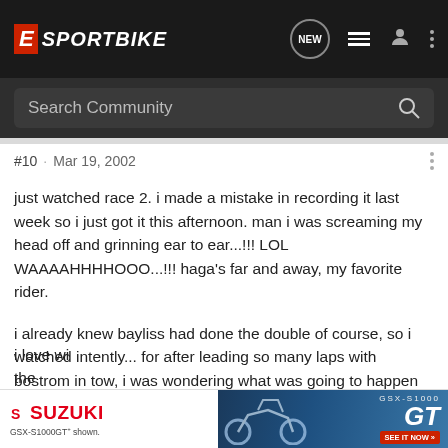E SPORTBIKE
Search Community
#10 · Mar 19, 2002
just watched race 2. i made a mistake in recording it last week so i just got it this afternoon. man i was screaming my head off and grinning ear to ear...!!! LOL WAAAAHHHHOOO...!!! haga's far and away, my favorite rider.
i already knew bayliss had done the double of course, so i watched intently... for after leading so many laps with bostrom in tow, i was wondering what was going to happen that would give bayliss the win....? man, i knew betting on haga for this season would be a "no-brainer" after his wrestling last season (and in '98) with the peaky 2-strokes.
i love wi... the
[Figure (infographic): Suzuki GSX-S1000GT advertisement banner at the bottom of the page showing Suzuki logo on left and motorcycle image with GT text on right with SEE IT NOW button]